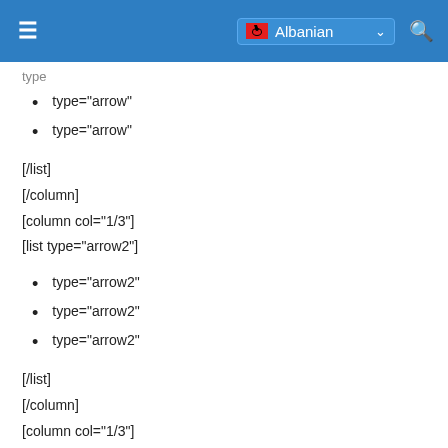Albanian
type
type="arrow"
type="arrow"
[/list]
[/column]
[column col="1/3"]
[list type="arrow2"]
type="arrow2"
type="arrow2"
type="arrow2"
[/list]
[/column]
[column col="1/3"]
[list type="arrow3"]